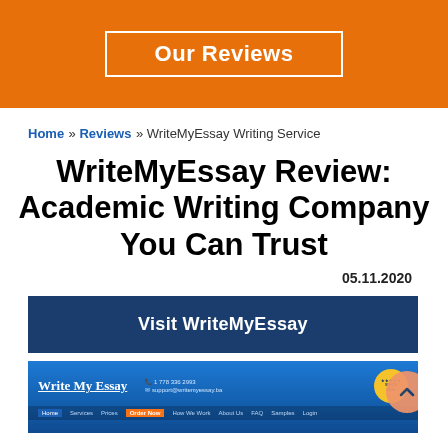Our Reviews
Home » Reviews » WriteMyEssay Writing Service
WriteMyEssay Review: Academic Writing Company You Can Trust
05.11.2020
Visit WriteMyEssay
[Figure (screenshot): Screenshot of the Write My Essay website header showing the logo, phone number, email, a since-2016 badge, and navigation links including Home, Services, Prices, Order Now, How We Work, About Us, FAQ, Samples, Login.]